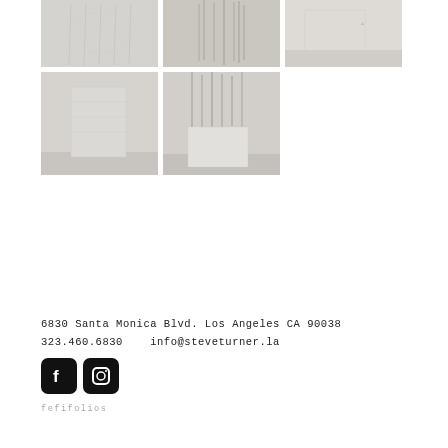[Figure (photo): Grid of 5 gallery installation photos showing white sculptural artworks with hanging elements]
6830 Santa Monica Blvd. Los Angeles CA 90038
323.460.6830    info@steveturner.la
[Figure (illustration): Facebook and Instagram icons (black rounded square icons)]
fefifolios